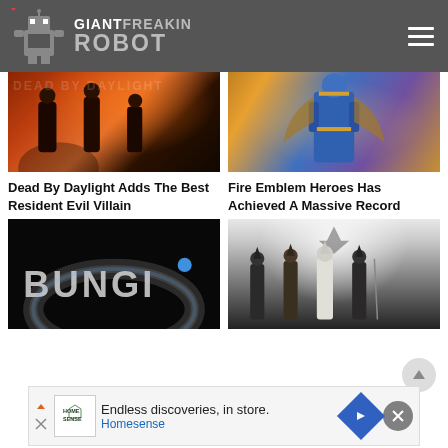Giant Freakin Robot
[Figure (screenshot): Dead By Daylight game art showing characters]
[Figure (screenshot): Fire Emblem Heroes game art showing armored character]
Dead By Daylight Adds The Best Resident Evil Villain
Fire Emblem Heroes Has Achieved A Massive Record
[Figure (screenshot): Bungie logo on dark background]
[Figure (screenshot): Assassin's Creed characters artwork]
[Figure (screenshot): Home Sense advertisement banner - Endless discoveries, in store.]